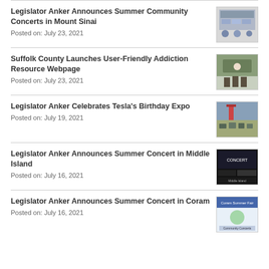Legislator Anker Announces Summer Community Concerts in Mount Sinai
Posted on: July 23, 2021
Suffolk County Launches User-Friendly Addiction Resource Webpage
Posted on: July 23, 2021
Legislator Anker Celebrates Tesla’s Birthday Expo
Posted on: July 19, 2021
Legislator Anker Announces Summer Concert in Middle Island
Posted on: July 16, 2021
Legislator Anker Announces Summer Concert in Coram
Posted on: July 16, 2021